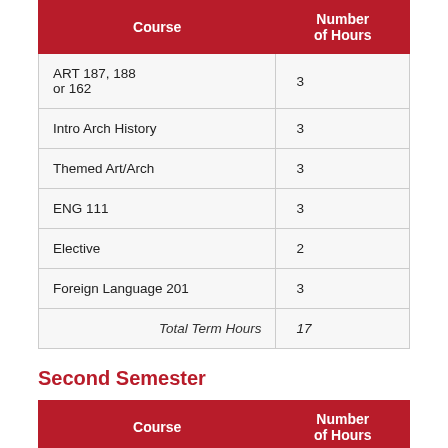| Course | Number of Hours |
| --- | --- |
| ART 187, 188 or 162 | 3 |
| Intro Arch History | 3 |
| Themed Art/Arch | 3 |
| ENG 111 | 3 |
| Elective | 2 |
| Foreign Language 201 | 3 |
| Total Term Hours | 17 |
Second Semester
| Course | Number of Hours |
| --- | --- |